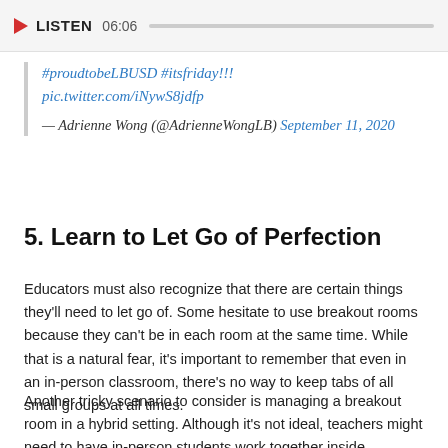LISTEN 06:06
#proudtobeLBUSD #itsfriday!!! pic.twitter.com/iNywS8jdfp — Adrienne Wong (@AdrienneWongLB) September 11, 2020
5. Learn to Let Go of Perfection
Educators must also recognize that there are certain things they'll need to let go of. Some hesitate to use breakout rooms because they can't be in each room at the same time. While that is a natural fear, it's important to remember that even in an in-person classroom, there's no way to keep tabs of all small groups at all times.
Another tricky scenario to consider is managing a breakout room in a hybrid setting. Although it's not ideal, teachers might need to have in-person students work together inside